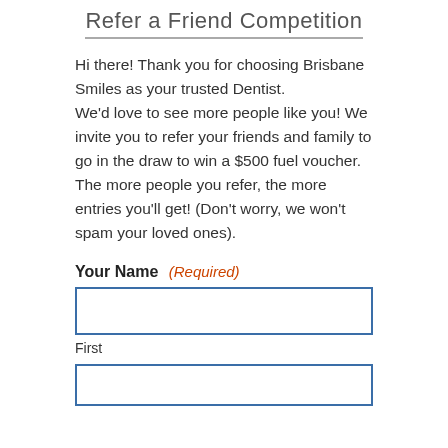Refer a Friend Competition
Hi there! Thank you for choosing Brisbane Smiles as your trusted Dentist. We'd love to see more people like you! We invite you to refer your friends and family to go in the draw to win a $500 fuel voucher. The more people you refer, the more entries you'll get! (Don't worry, we won't spam your loved ones).
Your Name (Required)
First